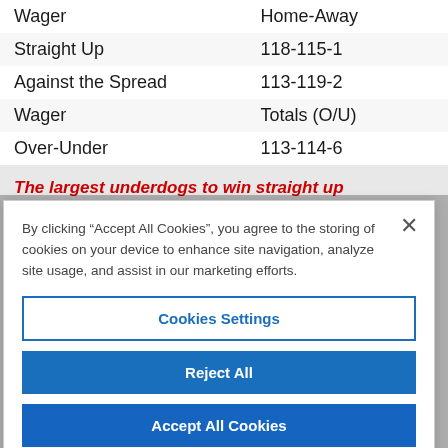| Wager | Home-Away |
| --- | --- |
| Straight Up | 118-115-1 |
| Against the Spread | 113-119-2 |
| Wager | Totals (O/U) |
| Over-Under | 113-114-6 |
The largest underdogs to win straight up
By clicking “Accept All Cookies”, you agree to the storing of cookies on your device to enhance site navigation, analyze site usage, and assist in our marketing efforts.